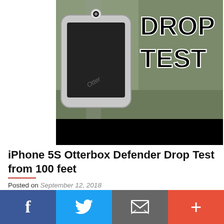[Figure (photo): Thumbnail image of an iPhone in an OtterBox Defender case against an aerial background, with bold text overlay reading 'DROP TEST' and a black bar at the bottom]
iPhone 5S Otterbox Defender Drop Test from 100 feet
Posted on September 12, 2018
What happens when a Gold iPhone 5S is dropped from the top of a 100 foot shopping mall in an Otterbox defender case?
FACEBOOK:
TWITTER: